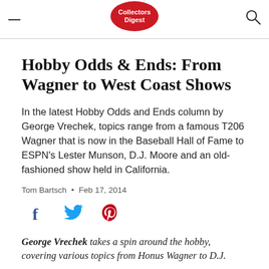Collectors Digest
Hobby Odds & Ends: From Wagner to West Coast Shows
In the latest Hobby Odds and Ends column by George Vrechek, topics range from a famous T206 Wagner that is now in the Baseball Hall of Fame to ESPN's Lester Munson, D.J. Moore and an old-fashioned show held in California.
Tom Bartsch • Feb 17, 2014
[Figure (other): Social share icons: Facebook (blue f), Twitter (blue bird), Pinterest (red P)]
George Vrechek takes a spin around the hobby, covering various topics from Honus Wagner to D.J.